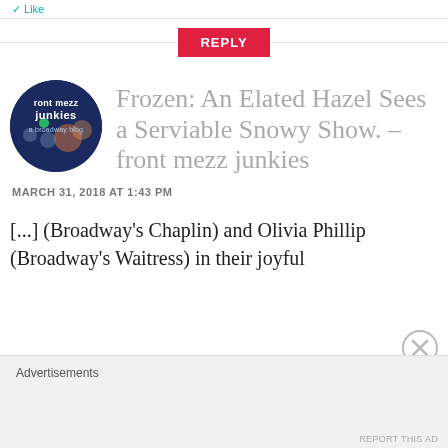Like
REPLY
[Figure (logo): Circular logo for 'front mezz junkies a broadway blog' with dark navy background]
Frozen: An Elated Hazel Sees a Serviable Snowy Show. – front mezz junkies
MARCH 31, 2018 AT 1:43 PM
[...] (Broadway's Chaplin) and Olivia Phillip (Broadway's Waitress) in their joyful
Advertisements